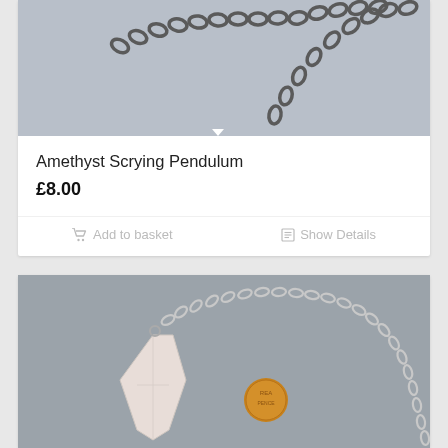[Figure (photo): Close-up photo of a dark metal chain against a grey background, part of amethyst scrying pendulum product]
Amethyst Scrying Pendulum
£8.00
Add to basket
Show Details
[Figure (photo): Photo of a pale pink/white crystal pendulum on a silver chain with a small orange coin visible, against a grey background]